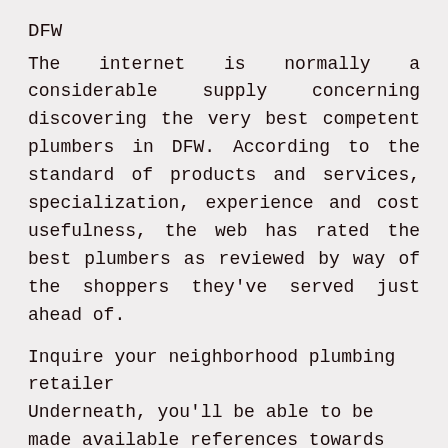DFW
The internet is normally a considerable supply concerning discovering the very best competent plumbers in DFW. According to the standard of products and services, specialization, experience and cost usefulness, the web has rated the best plumbers as reviewed by way of the shoppers they've served just ahead of.
Inquire your neighborhood plumbing retailer
Underneath, you'll be able to be made available references towards the excellent plumbers inside of your locality that could come in to salvage your situation.
Details to think about when trying to get the proper